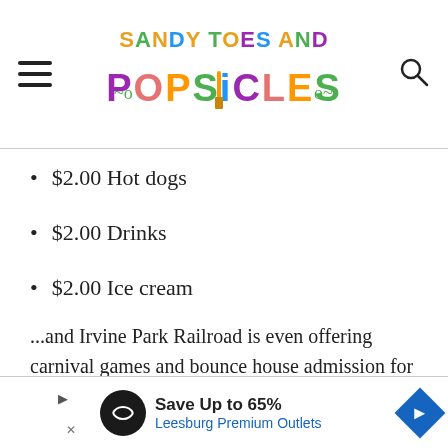Sandy Toes and Popsicles
$2.00 Hot dogs
$2.00 Drinks
$2.00 Ice cream
...and Irvine Park Railroad is even offering carnival games and bounce house admission for $2.00 per game.
Save Up to 65% Leesburg Premium Outlets